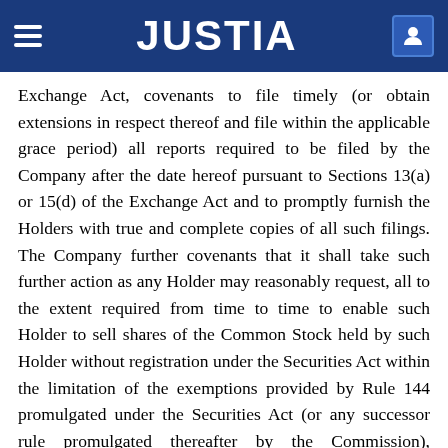JUSTIA
Exchange Act, covenants to file timely (or obtain extensions in respect thereof and file within the applicable grace period) all reports required to be filed by the Company after the date hereof pursuant to Sections 13(a) or 15(d) of the Exchange Act and to promptly furnish the Holders with true and complete copies of all such filings. The Company further covenants that it shall take such further action as any Holder may reasonably request, all to the extent required from time to time to enable such Holder to sell shares of the Common Stock held by such Holder without registration under the Securities Act within the limitation of the exemptions provided by Rule 144 promulgated under the Securities Act (or any successor rule promulgated thereafter by the Commission), including providing any legal opinions. Upon the request of any Holder, the Company shall deliver to such Holder